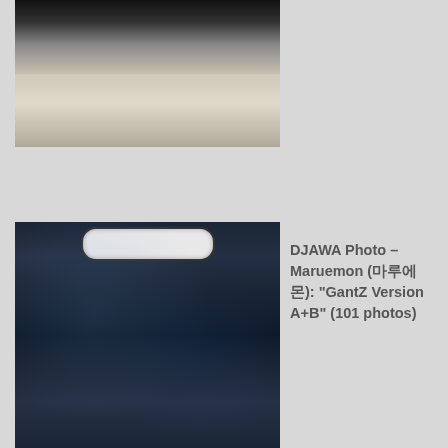[Figure (photo): Top photo showing a woman in a black crop top and beige high-waisted skirt with buttons, partially cropped]
[Figure (photo): Photo of a woman in a black latex suit with a robot/cat mask and headphones, cosplay of GantZ]
DJAWA Photo – Maruemon (마루에몬): "GantZ Version A+B" (101 photos)